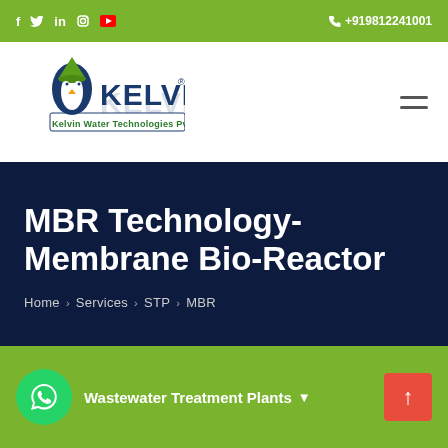f  twitter  in  instagram  youtube    +919812241001
[Figure (logo): Kelvin Water Technologies Pvt. Ltd. logo with penguin mascot]
MBR Technology- Membrane Bio-Reactor
Home > Services > STP > MBR
Wastewater Treatment Plants